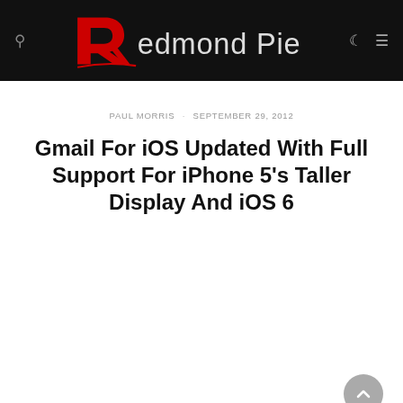Redmond Pie
PAUL MORRIS · SEPTEMBER 29, 2012
Gmail For iOS Updated With Full Support For iPhone 5's Taller Display And iOS 6